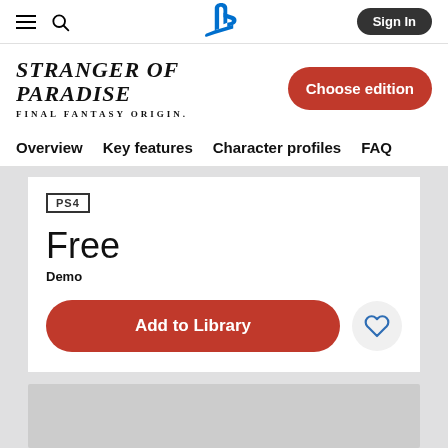PlayStation Store navigation bar with hamburger menu, search icon, PlayStation logo, and Sign In button
[Figure (logo): Stranger of Paradise: Final Fantasy Origin game logo]
Choose edition
Overview   Key features   Character profiles   FAQ
PS4
Free
Demo
Add to Library
[Figure (illustration): Wishlist heart icon button]